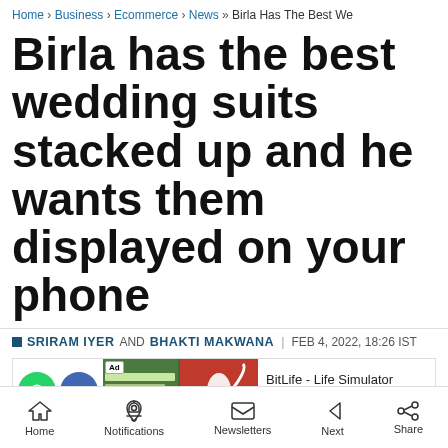Home › Business › Ecommerce › News »  Birla Has The Best We
Birla has the best wedding suits stacked up and he wants them displayed on your phone
SRIRAM IYER AND BHAKTI MAKWANA | FEB 4, 2022, 18:26 IST
[Figure (screenshot): Mobile advertisement banner showing BitLife - Life Simulator app with Install! button]
Home  Notifications  Newsletters  Next  Share